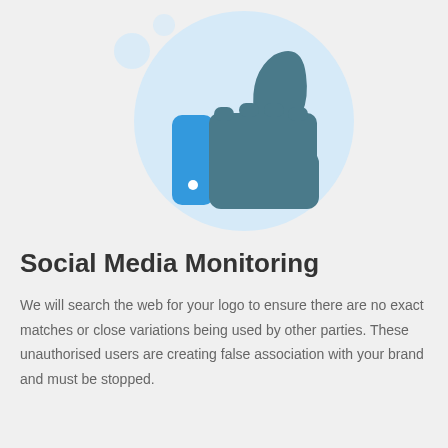[Figure (illustration): A thumbs-up like icon illustration: a large light blue circle background with a blue rounded rectangle (post/pillar shape with a small white dot) on the left and a dark teal-blue thumbs-up hand icon on the right. Two smaller light blue circles appear in the upper-left area outside the main circle.]
Social Media Monitoring
We will search the web for your logo to ensure there are no exact matches or close variations being used by other parties. These unauthorised users are creating false association with your brand and must be stopped.